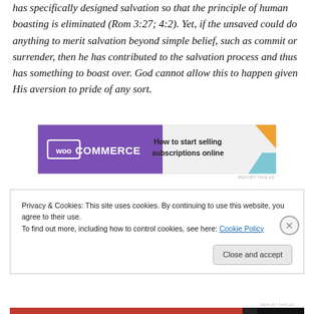has specifically designed salvation so that the principle of human boasting is eliminated (Rom 3:27; 4:2). Yet, if the unsaved could do anything to merit salvation beyond simple belief, such as commit or surrender, then he has contributed to the salvation process and thus has something to boast over. God cannot allow this to happen given His aversion to pride of any sort.
[Figure (other): WooCommerce advertisement banner: purple left panel with WooCommerce logo and teal arrow, right panel with text 'How to start selling subscriptions online' and orange/blue decorative shapes.]
REPORT THIS AD
Privacy & Cookies: This site uses cookies. By continuing to use this website, you agree to their use.
To find out more, including how to control cookies, see here: Cookie Policy
Close and accept